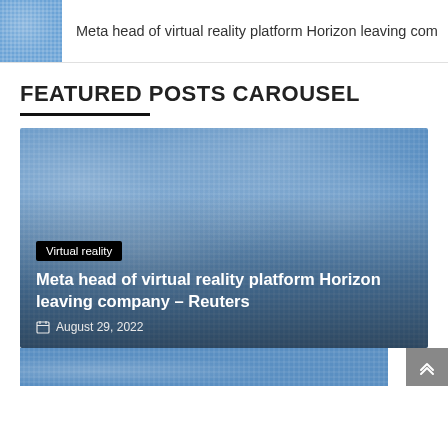Meta head of virtual reality platform Horizon leaving com
FEATURED POSTS CAROUSEL
[Figure (photo): Blue digital binary pattern image used as background for a featured news card about Meta's virtual reality platform Horizon]
Virtual reality
Meta head of virtual reality platform Horizon leaving company – Reuters
August 29, 2022
[Figure (photo): Partial view of a second carousel card with similar blue digital pattern background]